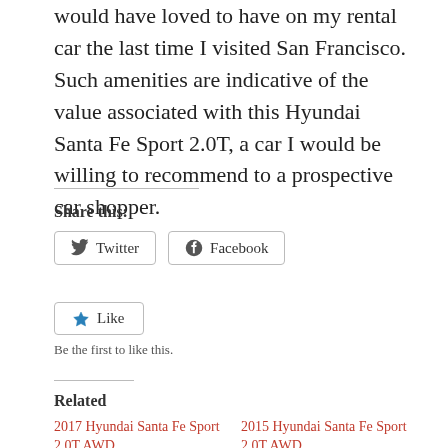would have loved to have on my rental car the last time I visited San Francisco.  Such amenities are indicative of the value associated with this Hyundai Santa Fe Sport 2.0T, a car I would be willing to recommend to a prospective car shopper.
Share this:
Twitter  Facebook
Like
Be the first to like this.
Related
2017 Hyundai Santa Fe Sport 2.0T AWD
February 25, 2017
2015 Hyundai Santa Fe Sport 2.0T AWD
April 9, 2015